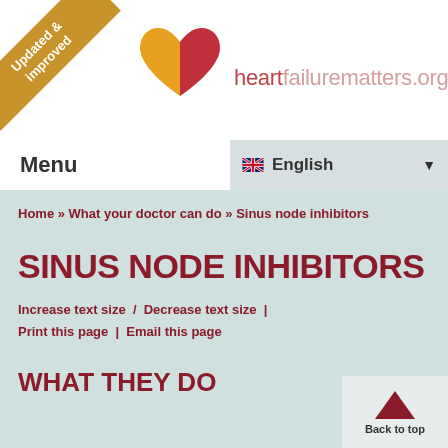[Figure (logo): heartfailurematters.org logo with heart graphic and site name]
Updated & improved
Menu
English
Home » What your doctor can do » Sinus node inhibitors
SINUS NODE INHIBITORS
Increase text size  /  Decrease text size  |  Print this page  |  Email this page
WHAT THEY DO